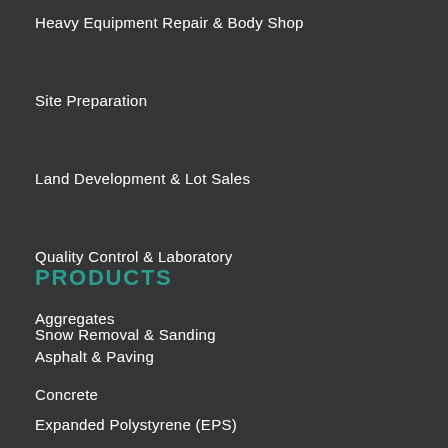Heavy Equipment Repair & Body Shop
Site Preparation
Land Development & Lot Sales
Quality Control & Laboratory
Snow Removal & Sanding
PRODUCTS
Aggregates
Asphalt & Paving
Concrete
Expanded Polystyrene (EPS)
Fencing